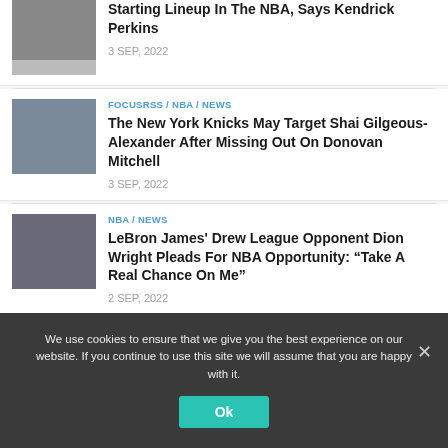Starting Lineup In The NBA, Says Kendrick Perkins
3 SEP, 2022
FOCUSRSS / NBA / NEWS
The New York Knicks May Target Shai Gilgeous-Alexander After Missing Out On Donovan Mitchell
3 SEP, 2022
NBA / NEWS
LeBron James' Drew League Opponent Dion Wright Pleads For NBA Opportunity: “Take A Real Chance On Me”
2 SEP, 2022
We use cookies to ensure that we give you the best experience on our website. If you continue to use this site we will assume that you are happy with it.
Ok